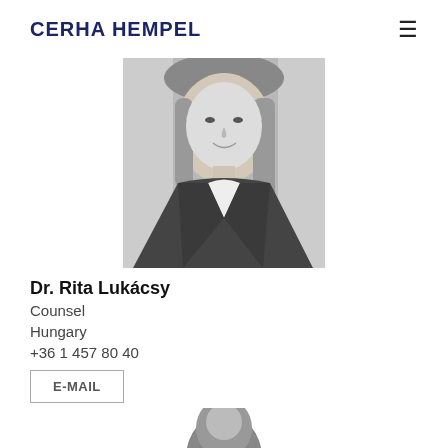CERHA HEMPEL
[Figure (photo): Black and white professional headshot photo of Dr. Rita Lukácsy, a woman with long blonde hair wearing a dark blazer and white shirt, smiling]
Dr. Rita Lukácsy
Counsel
Hungary
+36 1 457 80 40
E-MAIL
[Figure (photo): Black and white professional headshot photo of another person, partially visible at the bottom of the page]